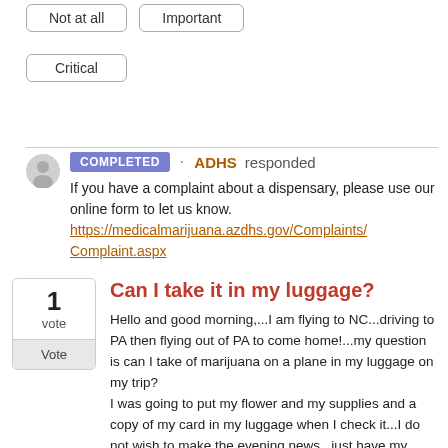Not at all
Important
Critical
COMPLETED · ADHS responded
If you have a complaint about a dispensary, please use our online form to let us know.
https://medicalmarijuana.azdhs.gov/Complaints/Complaint.aspx
Can I take it in my luggage?
Hello and good morning,...I am flying to NC...driving to PA then flying out of PA to come home!...my question is can I take of marijuana on a plane in my luggage on my trip?
I was going to put my flower and my supplies and a copy of my card in my luggage when I check it...I do not wish to make the evening news...just have my medicine when I get there.